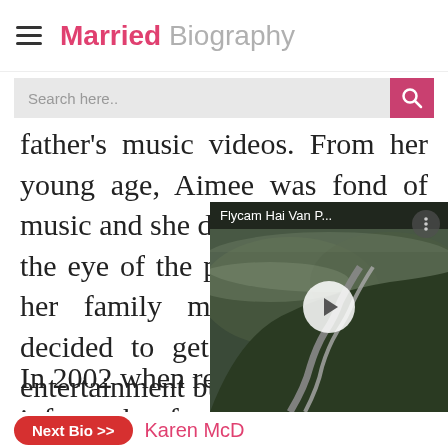Married Biography
Search here..
father's music videos. From her young age, Aimee was fond of music and she didn't want to be in the eye of the public. Like all of her family members she has decided to get into the life of entertainment but as a musician.
In 2002 when reality TV was still in its infancy, her family got their own reality show on MTV. It w...
[Figure (screenshot): Video player overlay showing 'Flycam Hai Van P...' with a winding mountain road aerial view, play button, close button, and menu button]
Next Bio >> Karen McD...